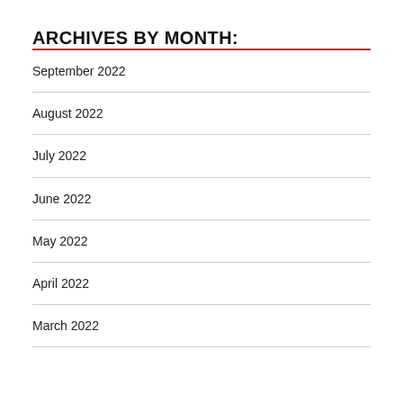ARCHIVES BY MONTH:
September 2022
August 2022
July 2022
June 2022
May 2022
April 2022
March 2022